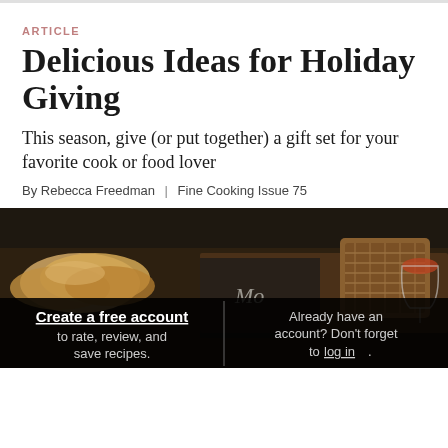ARTICLE
Delicious Ideas for Holiday Giving
This season, give (or put together) a gift set for your favorite cook or food lover
By Rebecca Freedman  |  Fine Cooking Issue 75
[Figure (photo): Dark moody food photo showing sliced bread/pastry items on a dark surface with a wicker basket and wine glass in background]
Create a free account to rate, review, and save recipes.
Already have an account? Don't forget to log in.